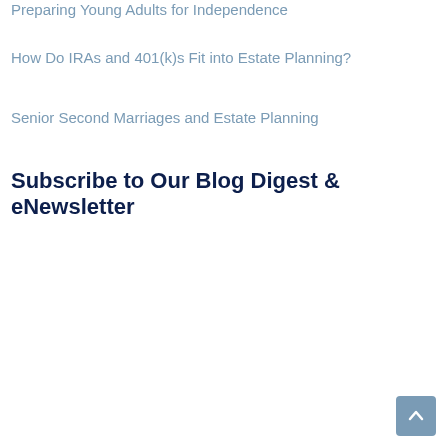Preparing Young Adults for Independence
How Do IRAs and 401(k)s Fit into Estate Planning?
Senior Second Marriages and Estate Planning
Subscribe to Our Blog Digest & eNewsletter